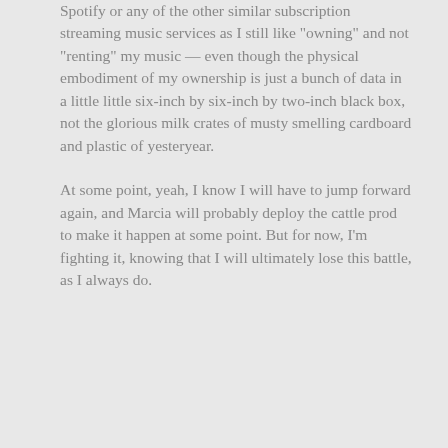Spotify or any of the other similar subscription streaming music services as I still like "owning" and not "renting" my music — even though the physical embodiment of my ownership is just a bunch of data in a little little six-inch by six-inch by two-inch black box, not the glorious milk crates of musty smelling cardboard and plastic of yesteryear.
At some point, yeah, I know I will have to jump forward again, and Marcia will probably deploy the cattle prod to make it happen at some point. But for now, I'm fighting it, knowing that I will ultimately lose this battle, as I always do.